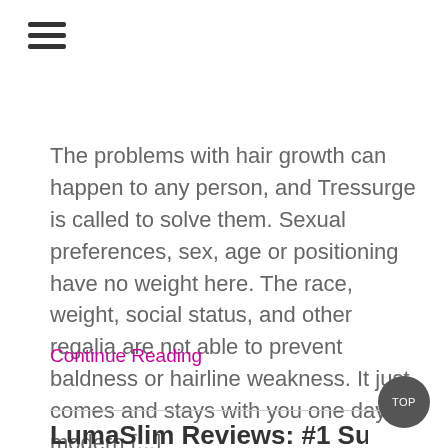[Figure (other): Hamburger menu icon (three horizontal lines)]
The problems with hair growth can happen to any person, and Tressurge is called to solve them. Sexual preferences, sex, age or positioning have no weight here. The race, weight, social status, and other regalia are not able to prevent baldness or hairline weakness. It just comes and stays with you one day. In modern [...]
Continue Reading
LumaSlim Reviews: #1 Supplement to